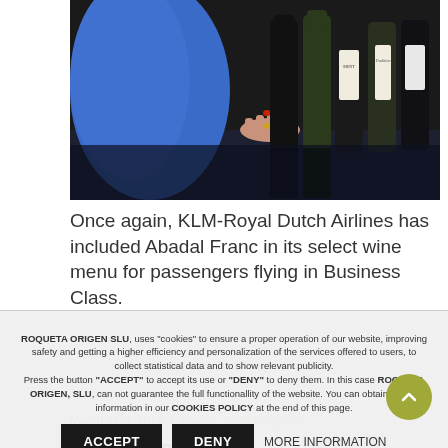[Figure (photo): Person in blue uniform reaching toward wine bottles on a dark surface]
Once again, KLM-Royal Dutch Airlines has included Abadal Franc in its select wine menu for passengers flying in Business Class.
March 15th, 2017 | Abadal, abadal-franc-c
Related Posts
ROQUETA ORIGEN SLU, uses "cookies" to ensure a proper operation of our website, improving safety and getting a higher efficiency and personalization of the services offered to users, to collect statistical data and to show relevant publicity.
Press the button "ACCEPT" to accept its use or "DENY" to deny them. In this case ROQUETA ORIGEN, SLU, can not guarantee the full functionallity of the website. You can obtain further information in our COOKIES POLICY at the end of this page.